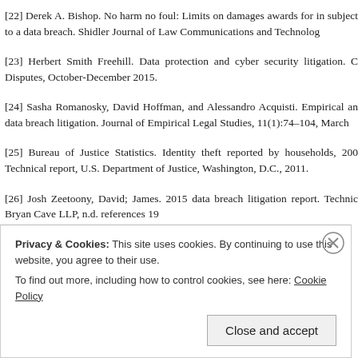[22] Derek A. Bishop. No harm no foul: Limits on damages awards for in subject to a data breach. Shidler Journal of Law Communications and Technolog
[23] Herbert Smith Freehill. Data protection and cyber security litigation. C Disputes, October-December 2015.
[24] Sasha Romanosky, David Hoffman, and Alessandro Acquisti. Empirical an data breach litigation. Journal of Empirical Legal Studies, 11(1):74–104, March
[25] Bureau of Justice Statistics. Identity theft reported by households, 200 Technical report, U.S. Department of Justice, Washington, D.C., 2011.
[26] Josh Zeetoony, David; James. 2015 data breach litigation report. Technic Bryan Cave LLP, n.d. references 19
Privacy & Cookies: This site uses cookies. By continuing to use this website, you agree to their use.
To find out more, including how to control cookies, see here: Cookie Policy